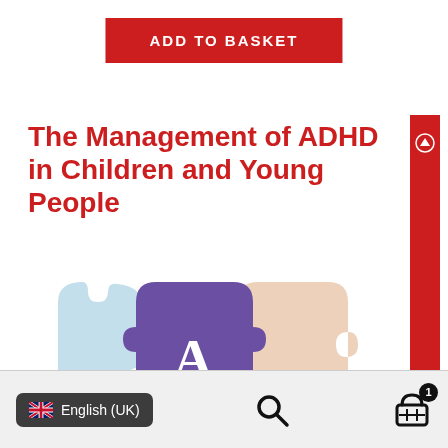ADD TO BASKET
The Management of ADHD in Children and Young People
[Figure (illustration): Colorful interlocking puzzle pieces in purple, teal, light blue, and peach/skin tones, with a large letter 'A' in white on the purple piece and partial letter 'D' on the teal piece — representing the ADHD acronym as puzzle pieces.]
English (UK)  [search icon]  [basket icon with badge 1]